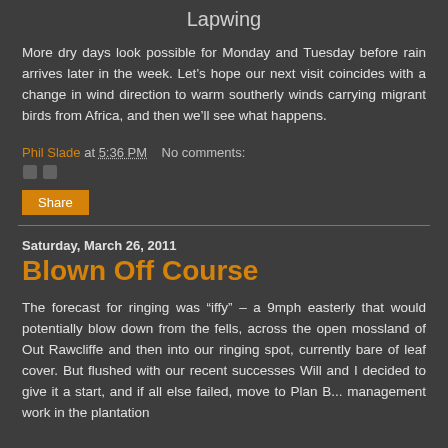Lapwing
More dry days look possible for Monday and Tuesday before rain arrives later in the week. Let’s hope our next visit coincides with a change in wind direction to warm southerly winds carrying migrant birds from Africa, and then we'll see what happens.
Phil Slade at 5:36 PM   No comments:
Share
Saturday, March 26, 2011
Blown Off Course
The forecast for ringing was “iffy” – a 9mph easterly that would potentially blow down from the fells, across the open mossland of Out Rawcliffe and then into our ringing spot, currently bare of leaf cover. But flushed with our recent successes Will and I decided to give it a start, and if all else failed, move to Plan B... management work in the plantation